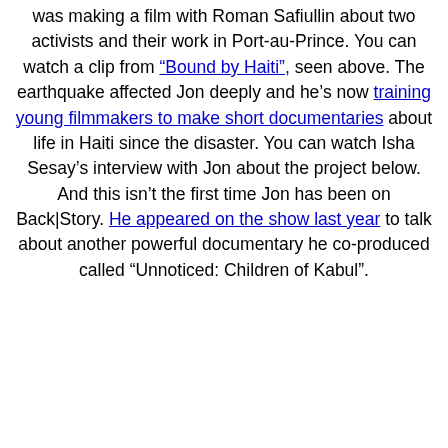was making a film with Roman Safiullin about two activists and their work in Port-au-Prince. You can watch a clip from "Bound by Haiti", seen above. The earthquake affected Jon deeply and he's now training young filmmakers to make short documentaries about life in Haiti since the disaster. You can watch Isha Sesay's interview with Jon about the project below. And this isn't the first time Jon has been on Back|Story. He appeared on the show last year to talk about another powerful documentary he co-produced called "Unnoticed: Children of Kabul".